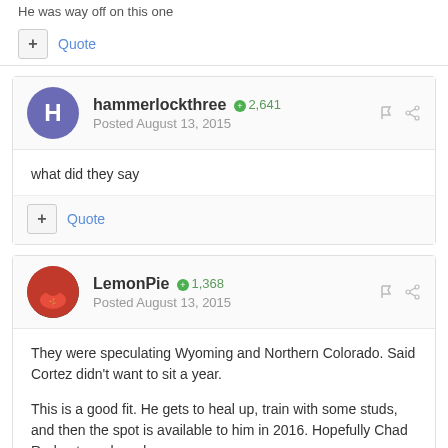He was way off on this one
+ Quote
hammerlockthree  +2,641  Posted August 13, 2015
what did they say
+ Quote
LemonPie  +1,368  Posted August 13, 2015
They were speculating Wyoming and Northern Colorado. Said Cortez didn't want to sit a year.
This is a good fit. He gets to heal up, train with some studs, and then the spot is available to him in 2016. Hopefully Chad Red gets on board